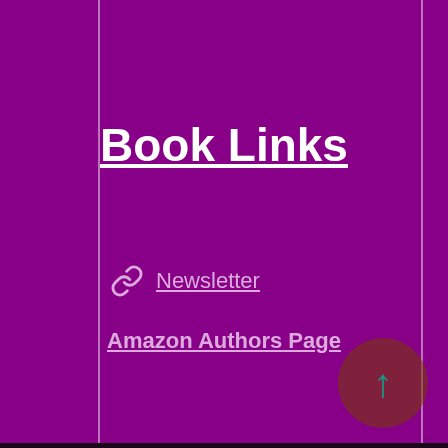Book Links
🔗 Newsletter
Amazon Authors Page
📋 Goodreads
Social
Facebook
FB Group
Twitter
Our Site uses cookies to help it function properly and to record unique visitors.
The data is strictly for functional and visit counts only and will not be shared with any third party.
❯ Privacy Preferences
I Agree